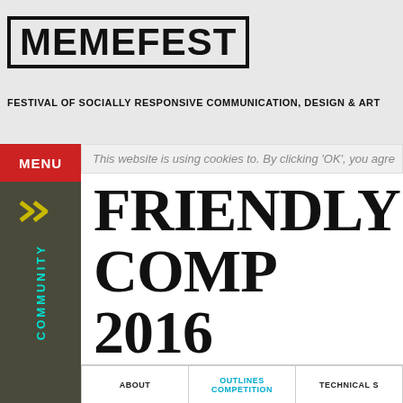MEMEFEST — FESTIVAL OF SOCIALLY RESPONSIVE COMMUNICATION, DESIGN & ART
MENU
COMMUNITY
This website is using cookies to. By clicking 'OK', you agre
FRIENDLY COMP 2016
CATEGORY
Critical writing
TIVAL
ABOUT | OUTLINES COMPETITION | TECHNICAL S